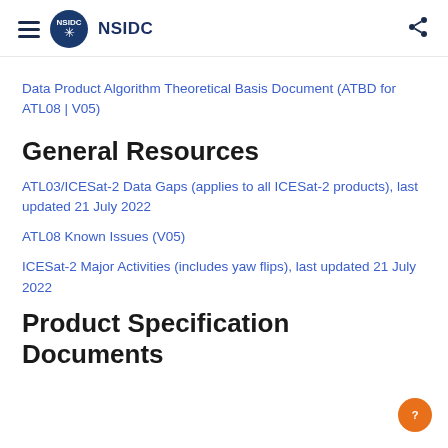NSIDC
Data Product Algorithm Theoretical Basis Document (ATBD for ATL08 | V05)
General Resources
ATL03/ICESat-2 Data Gaps (applies to all ICESat-2 products), last updated 21 July 2022
ATL08 Known Issues (V05)
ICESat-2 Major Activities (includes yaw flips), last updated 21 July 2022
Product Specification Documents